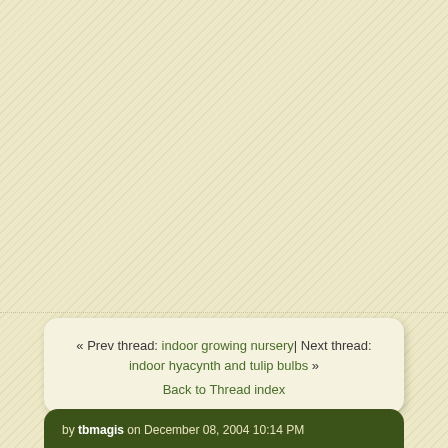« Prev thread: indoor growing nursery| Next thread: indoor hyacynth and tulip bulbs » Back to Thread index
by tbmagis on December 08, 2004 10:14 PM